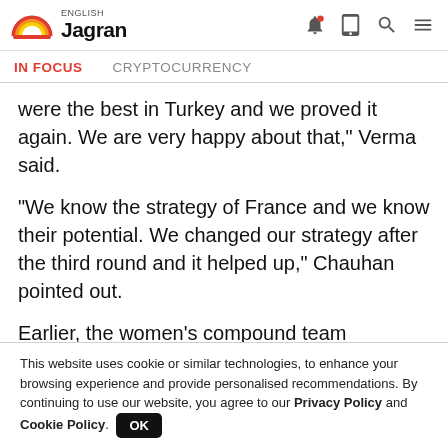English Jagran
IN FOCUS   CRYPTOCURRENCY
were the best in Turkey and we proved it again. We are very happy about that," Verma said.
"We know the strategy of France and we know their potential. We changed our strategy after the third round and it helped up," Chauhan pointed out.
Earlier, the women's compound team comprising of Avneet Kaur, Muskan Kirar and Priya Gurjar and the
Read More
This website uses cookie or similar technologies, to enhance your browsing experience and provide personalised recommendations. By continuing to use our website, you agree to our Privacy Policy and Cookie Policy. OK